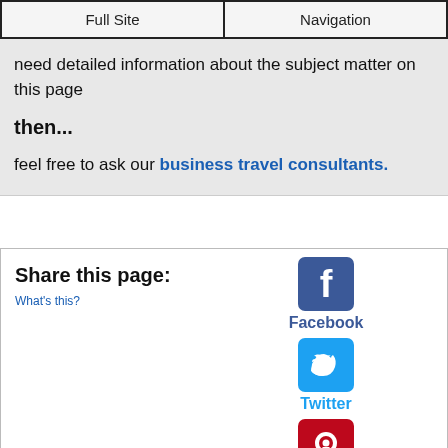Full Site | Navigation
need detailed information about the subject matter on this page
then...
feel free to ask our business travel consultants.
Share this page:
What's this?
[Figure (other): Facebook share icon with label 'Facebook']
[Figure (other): Twitter share icon with label 'Twitter']
[Figure (other): Pinterest share icon with label 'Pinterest']